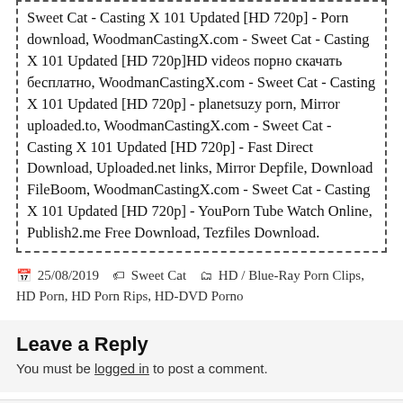Sweet Cat - Casting X 101 Updated [HD 720p] - Porn download, WoodmanCastingX.com - Sweet Cat - Casting X 101 Updated [HD 720p]HD videos порно скачать бесплатно, WoodmanCastingX.com - Sweet Cat - Casting X 101 Updated [HD 720p] - planetsuzy porn, Mirror uploaded.to, WoodmanCastingX.com - Sweet Cat - Casting X 101 Updated [HD 720p] - Fast Direct Download, Uploaded.net links, Mirror Depfile, Download FileBoom, WoodmanCastingX.com - Sweet Cat - Casting X 101 Updated [HD 720p] - YouPorn Tube Watch Online, Publish2.me Free Download, Tezfiles Download.
25/08/2019   Sweet Cat   HD / Blue-Ray Porn Clips, HD Porn, HD Porn Rips, HD-DVD Porno
Leave a Reply
You must be logged in to post a comment.
PREVIOUS
Spizoo – Janey Doe – Tattooed Big Tits Janey Doe Goes POV 4K [FullHD 1080p]